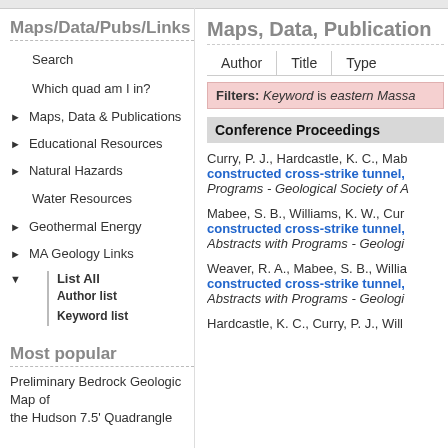Maps/Data/Pubs/Links
Search
Which quad am I in?
Maps, Data & Publications
Educational Resources
Natural Hazards
Water Resources
Geothermal Energy
MA Geology Links
List All
Author list
Keyword list
Most popular
Preliminary Bedrock Geologic Map of the Hudson 7.5' Quadrangle
Maps, Data, Publication
Author | Title | Type
Filters: Keyword is eastern Massa
Conference Proceedings
Curry, P. J., Hardcastle, K. C., Mab
constructed cross-strike tunnel,
Programs - Geological Society of A
Mabee, S. B., Williams, K. W., Cur
constructed cross-strike tunnel,
Abstracts with Programs - Geologi
Weaver, R. A., Mabee, S. B., Willia
constructed cross-strike tunnel,
Abstracts with Programs - Geologi
Hardcastle, K. C., Curry, P. J., Will